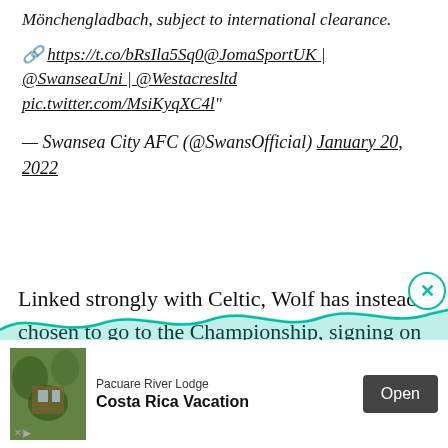Mönchengladbach, subject to international clearance.
🔗 https://t.co/bRsIla5Sq0@JomaSportUK | @SwanseaUni | @Westacresltd pic.twitter.com/MsiKyqXC4l"
— Swansea City AFC (@SwansOfficial) January 20, 2022
Linked strongly with Celtic, Wolf has instead chosen to go to the Championship, signing on loan for Swansea until the summer.
[Figure (other): Advertisement banner for Pacuare River Lodge - Costa Rica Vacation with an Open button and wave graphic decoration]